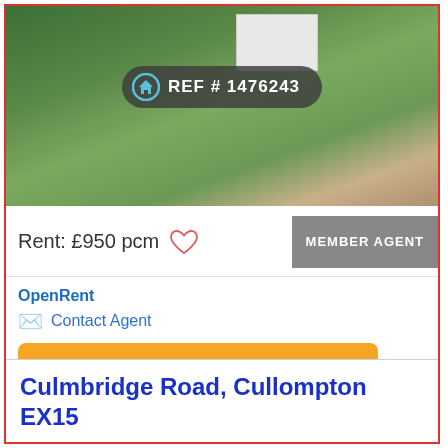[Figure (photo): Aerial/street view photo of a property with greenery and a white structure, overlaid with a dark pill-shaped badge showing a home icon and 'REF # 1476243']
Rent: £950 pcm
MEMBER AGENT
OpenRent
Contact Agent
020 3322 2733
Agent's website
Culmbridge Road, Cullompton EX15